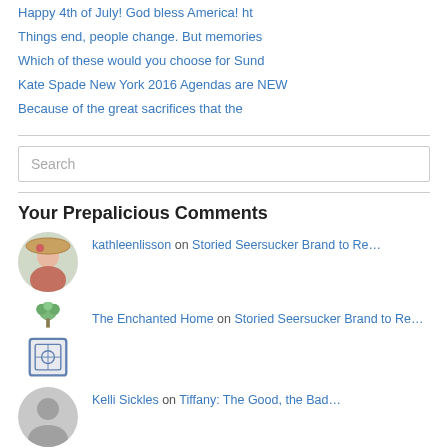Happy 4th of July! God bless America! ht
Things end, people change. But memories
Which of these would you choose for Sund
Kate Spade New York 2016 Agendas are NEW
Because of the great sacrifices that the
Search
Your Prepalicious Comments
kathleenlisson on Storied Seersucker Brand to Re…
The Enchanted Home on Storied Seersucker Brand to Re…
Kelli Sickles on Tiffany: The Good, the Bad…